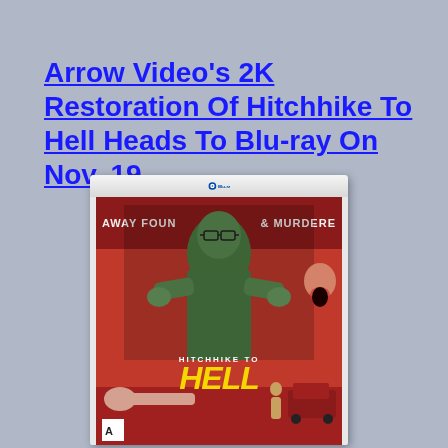Arrow Video's 2K Restoration Of Hitchhike To Hell Heads To Blu-ray On Nov. 19
[Figure (photo): Blu-ray case for 'Hitchhike to Hell' featuring Arrow Video's 2K restoration. The cover art shows a menacing man in green tones with the text 'AWAY FOUND & MURDERED' at the top, and 'HITCHHIKE TO HELL' prominently displayed in yellow stylized lettering. The case has the characteristic Blu-ray disc logo at the top and the Arrow Video logo at the bottom left.]